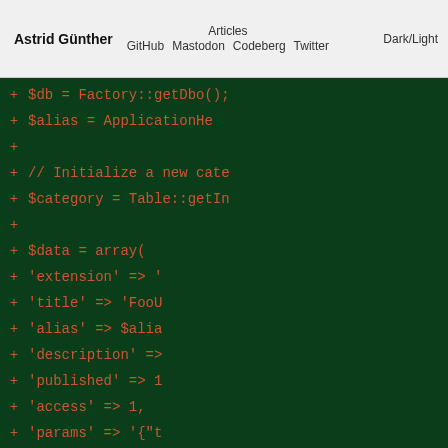Astrid Günther  Articles  GitHub  Mastodon  Codeberg  Twitter  Dark/Light
[Figure (screenshot): A dark green code diff view showing PHP code lines prefixed with '+' signs, displaying array initialization with keys: extension, title, alias, description, published, access, params, metadesc, metakey, metadata, created_time]